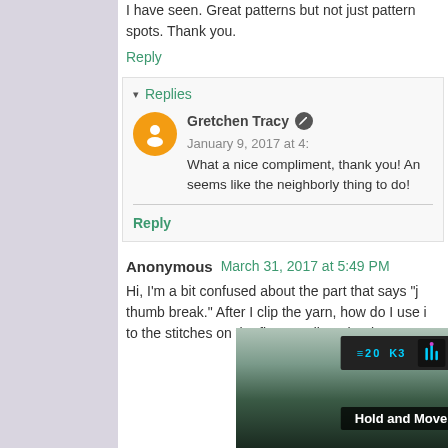I have seen. Great patterns but not just patterns spots. Thank you.
Reply
▾ Replies
Gretchen Tracy  January 9, 2017 at 4:
What a nice compliment, thank you! An seems like the neighborly thing to do!
Reply
Anonymous  March 31, 2017 at 5:49 PM
Hi, I'm a bit confused about the part that says "j thumb break." After I clip the yarn, how do I use i to the stitches on the first needle? Thanks!
[Figure (photo): Advertisement banner with outdoor photo and 'Hold and Move' label with question mark and X close buttons]